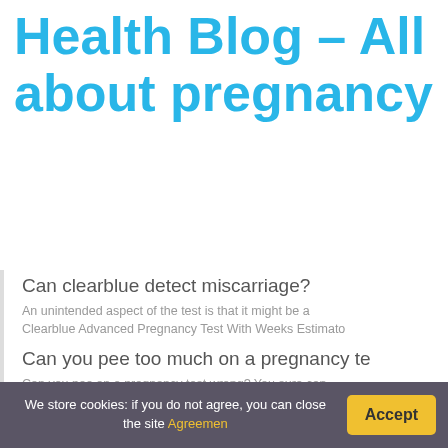Health Blog – All about pregnancy
Can clearblue detect miscarriage?
An unintended aspect of the test is that it might be a... Clearblue Advanced Pregnancy Test With Weeks Estimato...
Can you pee too much on a pregnancy te...
Can you pee on a pregnancy test wrong? You sure can. Pregnancy Test! You need to make sure you're saturatin... increase your chances of getting an accurate result.
How much hCG does clearblue detect?
We store cookies: if you do not agree, you can close the site Agreemen